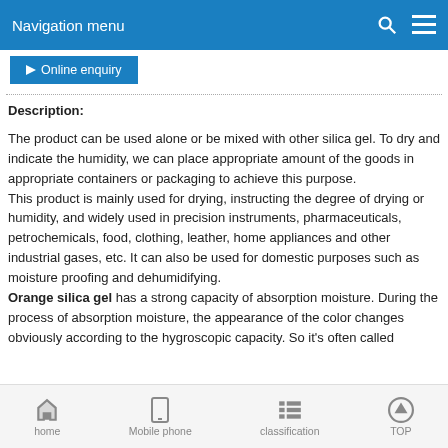Navigation menu
Online enquiry
Description:
The product can be used alone or be mixed with other silica gel. To dry and indicate the humidity, we can place appropriate amount of the goods in appropriate containers or packaging to achieve this purpose.
This product is mainly used for drying, instructing the degree of drying or humidity, and widely used in precision instruments, pharmaceuticals, petrochemicals, food, clothing, leather, home appliances and other industrial gases, etc. It can also be used for domestic purposes such as moisture proofing and dehumidifying.
Orange silica gel has a strong capacity of absorption moisture. During the process of absorption moisture, the appearance of the color changes obviously according to the hygroscopic capacity. So it's often called
home   Mobile phone   classification   TOP